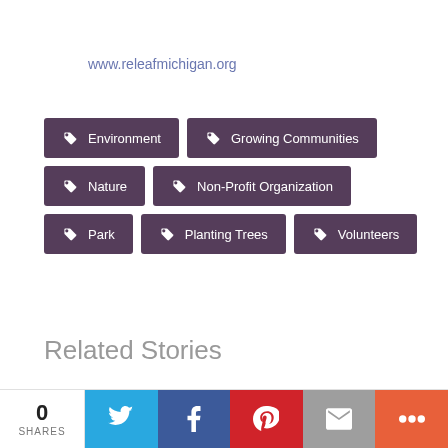www.releafmichigan.org
Environment
Growing Communities
Nature
Non-Profit Organization
Park
Planting Trees
Volunteers
Related Stories
0 SHARES | Twitter | Facebook | Pinterest | Email | More